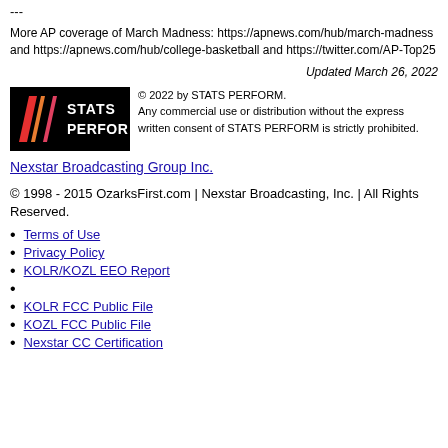---
More AP coverage of March Madness: https://apnews.com/hub/march-madness and https://apnews.com/hub/college-basketball and https://twitter.com/AP-Top25
Updated March 26, 2022
[Figure (logo): STATS PERFORM logo — black background with colored slash marks and white text]
© 2022 by STATS PERFORM. Any commercial use or distribution without the express written consent of STATS PERFORM is strictly prohibited.
Nexstar Broadcasting Group Inc.
© 1998 - 2015 OzarksFirst.com | Nexstar Broadcasting, Inc. | All Rights Reserved.
Terms of Use
Privacy Policy
KOLR/KOZL EEO Report
KOLR FCC Public File
KOZL FCC Public File
Nexstar CC Certification